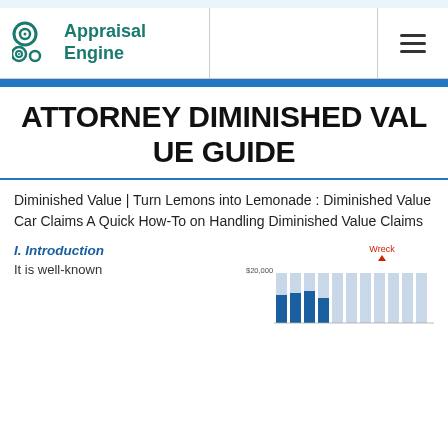Appraisal Engine
ATTORNEY DIMINISHED VALUE GUIDE
Diminished Value | Turn Lemons into Lemonade : Diminished Value Car Claims A Quick How-To on Handling Diminished Value Claims
I. Introduction
It is well-known
[Figure (bar-chart): Stacked bar chart showing vehicle value over time with a 'Wreck' annotation marker, comparing values before and after diminished value event. Y-axis shows values up to $20,000.]